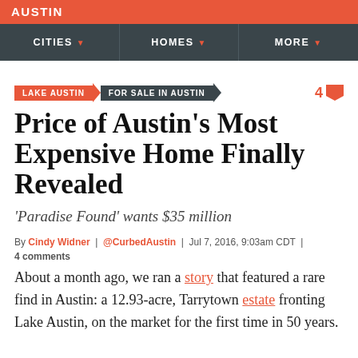AUSTIN
CITIES | HOMES | MORE
LAKE AUSTIN  FOR SALE IN AUSTIN  4
Price of Austin’s Most Expensive Home Finally Revealed
‘Paradise Found’ wants $35 million
By Cindy Widner | @CurbedAustin | Jul 7, 2016, 9:03am CDT | 4 comments
About a month ago, we ran a story that featured a rare find in Austin: a 12.93-acre, Tarrytown estate fronting Lake Austin, on the market for the first time in 50 years.